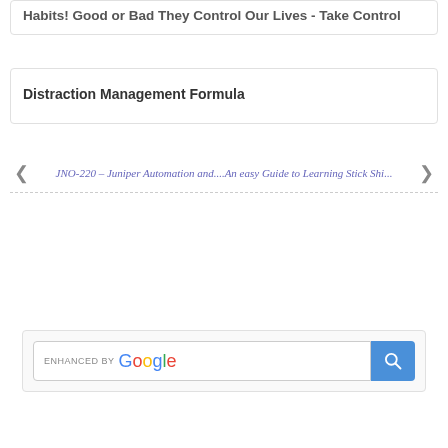Habits! Good or Bad They Control Our Lives - Take Control
Distraction Management Formula
JNO-220 – Juniper Automation and....An easy Guide to Learning Stick Shi...
[Figure (other): Enhanced by Google search bar with blue search button]